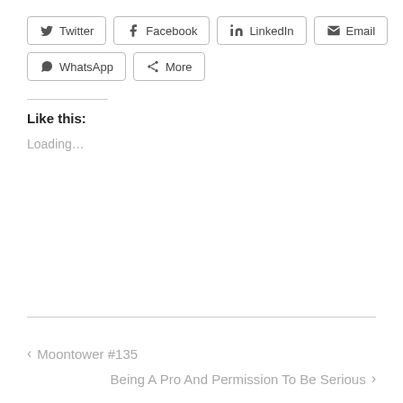Twitter
Facebook
LinkedIn
Email
WhatsApp
More
Like this:
Loading...
‹ Moontower #135
Being A Pro And Permission To Be Serious ›